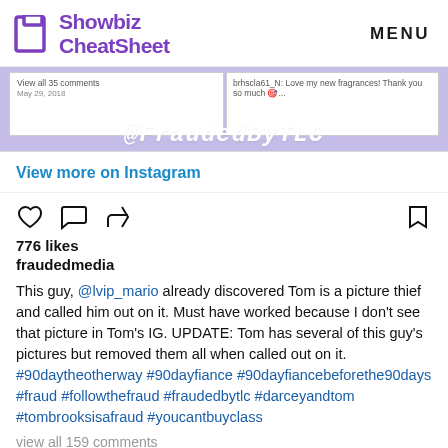Showbiz CheatSheet | MENU
[Figure (screenshot): Instagram embed screenshot showing @FraudedByTLC label over two comment screenshots]
View more on Instagram
776 likes
fraudedmedia
This guy, @lvip_mario already discovered Tom is a picture thief and called him out on it. Must have worked because I don't see that picture in Tom's IG. UPDATE: Tom has several of this guy's pictures but removed them all when called out on it. #90daytheotherway #90dayfiance #90dayfiancebeforethe90days #fraud #followthefraud #fraudedbytlc #darceyandtom #tombrooksisafraud #youcantbuyclass
view all 159 comments